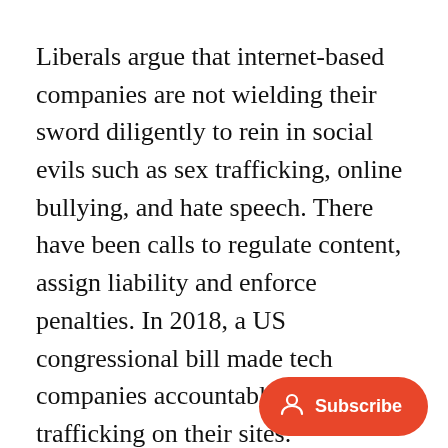Liberals argue that internet-based companies are not wielding their sword diligently to rein in social evils such as sex trafficking, online bullying, and hate speech. There have been calls to regulate content, assign liability and enforce penalties. In 2018, a US congressional bill made tech companies accountable for sex trafficking on their sites.
Interestingly, many in the tech and internet-based industry themselves w[ant] regulations and stringent laws.